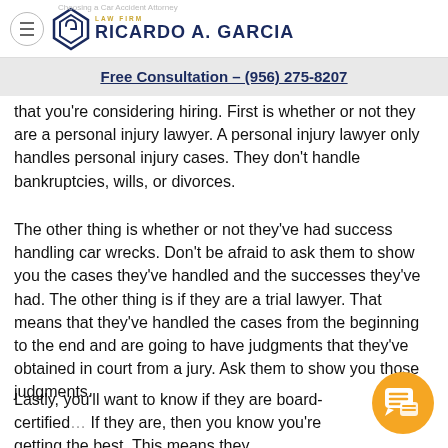Choosing a Car Accident Attorney – Ricardo A. Garcia Law Firm
Free Consultation – (956) 275-8207
that you're considering hiring. First is whether or not they are a personal injury lawyer. A personal injury lawyer only handles personal injury cases. They don't handle bankruptcies, wills, or divorces.
The other thing is whether or not they've had success handling car wrecks. Don't be afraid to ask them to show you the cases they've handled and the successes they've had. The other thing is if they are a trial lawyer. That means that they've handled the cases from the beginning to the end and are going to have judgments that they've obtained in court from a jury. Ask them to show you those judgments.
Lastly, you'll want to know if they are board-certified. If they are, then you know you're getting the best. This means they